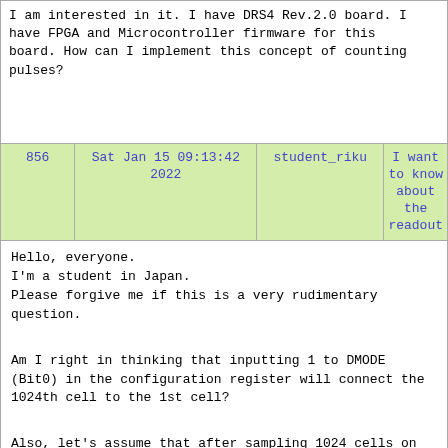I am interested in it. I have DRS4 Rev.2.0 board. I have FPGA and Microcontroller firmware for this board. How can I implement this concept of counting pulses?
| 856 | Sat Jan 15 09:13:42 2022 | student_riku | I want to know about the readout |
| --- | --- | --- | --- |
Hello, everyone.
I'm a student in Japan.
Please forgive me if this is a very rudimentary question.

Am I right in thinking that inputting 1 to DMODE (Bit0) in the configuration register will connect the 1024th cell to the 1st cell?

Also, let's assume that after sampling 1024 cells on channel 0, 200 cells are sampled in the second week. Does the readout of 1024 cells start from cell 0? Or does it start from the 200th cell?
Goto page Previous 1, 2, 3 ... 42, 43, 44 Next
ELOG V3.1.4-bcd7b50